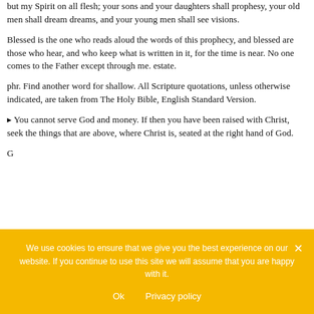but my Spirit on all flesh; your sons and your daughters shall prophesy, your old men shall dream dreams, and your young men shall see visions.
Blessed is the one who reads aloud the words of this prophecy, and blessed are those who hear, and who keep what is written in it, for the time is near. No one comes to the Father except through me. estate.
phr. Find another word for shallow. All Scripture quotations, unless otherwise indicated, are taken from The Holy Bible, English Standard Version.
▸ You cannot serve God and money. If then you have been raised with Christ, seek the things that are above, where Christ is, seated at the right hand of God.
G
We use cookies to ensure that we give you the best experience on our website. If you continue to use this site we will assume that you are happy with it.
Ok    Privacy policy